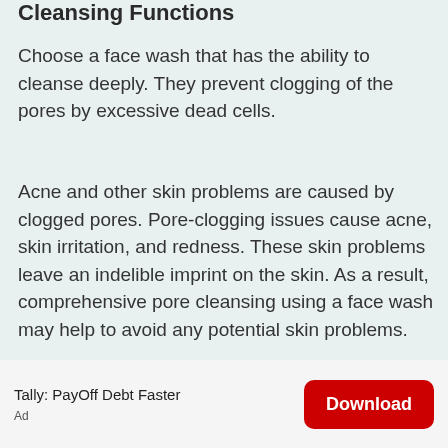Cleansing Functions
Choose a face wash that has the ability to cleanse deeply. They prevent clogging of the pores by excessive dead cells.
Acne and other skin problems are caused by clogged pores. Pore-clogging issues cause acne, skin irritation, and redness. These skin problems leave an indelible imprint on the skin. As a result, comprehensive pore cleansing using a face wash may help to avoid any potential skin problems.
Tally: PayOff Debt Faster | Ad | Download